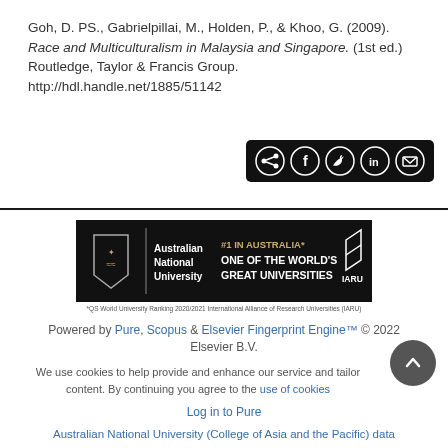Goh, D. PS., Gabrielpillai, M., Holden, P., & Khoo, G. (2009). Race and Multiculturalism in Malaysia and Singapore. (1st ed.) Routledge, Taylor & Francis Group. http://hdl.handle.net/1885/51142
[Figure (other): Social sharing button bar with share, Facebook, Twitter, LinkedIn, and email icons on black background]
[Figure (logo): Australian National University banner: #1 IN AUSTRALIA* ONE OF THE WORLD'S GREAT UNIVERSITIES, IARU logo. Footnote: *QS World University Ranking 2020/2021 International Alliance of Research Universities (IARU)]
Powered by Pure, Scopus & Elsevier Fingerprint Engine™ © 2022 Elsevier B.V.
We use cookies to help provide and enhance our service and tailor content. By continuing you agree to the use of cookies
Log in to Pure
Australian National University (College of Asia and the Pacific) data